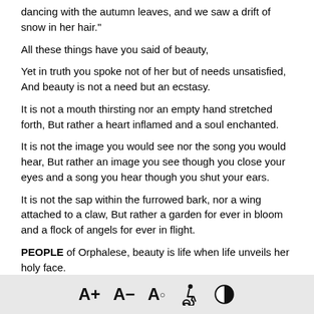dancing with the autumn leaves, and we saw a drift of snow in her hair."
All these things have you said of beauty,
Yet in truth you spoke not of her but of needs unsatisfied, And beauty is not a need but an ecstasy.
It is not a mouth thirsting nor an empty hand stretched forth, But rather a heart inflamed and a soul enchanted.
It is not the image you would see nor the song you would hear, But rather an image you see though you close your eyes and a song you hear though you shut your ears.
It is not the sap within the furrowed bark, nor a wing attached to a claw, But rather a garden for ever in bloom and a flock of angels for ever in flight.
PEOPLE of Orphalese, beauty is life when life unveils her holy face.
But you are life and you are the veil.
A+ A- A° [accessibility icon] [contrast icon]